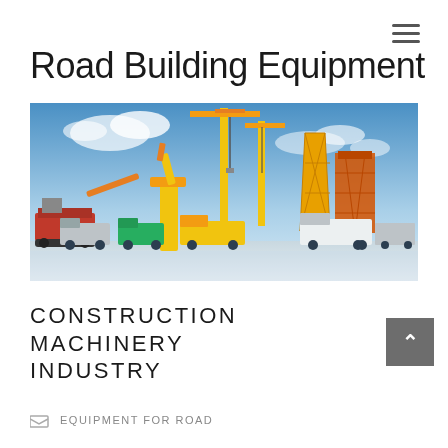Road Building Equipment
[Figure (photo): A collection of large yellow construction machinery and vehicles including cranes, excavators, dump trucks and other road building equipment arranged against a blue sky background]
CONSTRUCTION MACHINERY INDUSTRY
EQUIPMENT FOR ROAD